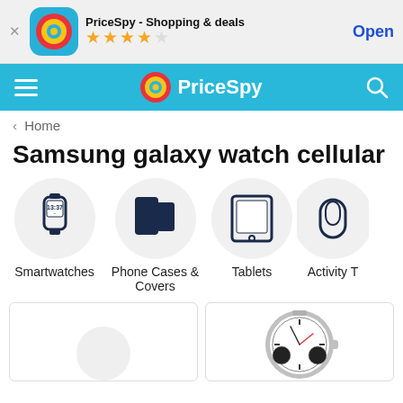[Figure (screenshot): App banner for PriceSpy - Shopping & deals with icon, 4.5 star rating, and Open button]
PriceSpy navigation bar with hamburger menu, PriceSpy logo, and search icon
< Home
Samsung galaxy watch cellular
[Figure (infographic): Category icons row: Smartwatches, Phone Cases & Covers, Tablets, Activity T...]
[Figure (photo): Two product cards showing Samsung Galaxy watch products]